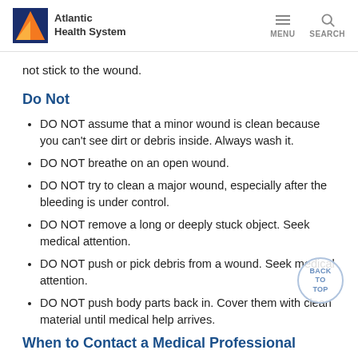Atlantic Health System
not stick to the wound.
Do Not
DO NOT assume that a minor wound is clean because you can't see dirt or debris inside. Always wash it.
DO NOT breathe on an open wound.
DO NOT try to clean a major wound, especially after the bleeding is under control.
DO NOT remove a long or deeply stuck object. Seek medical attention.
DO NOT push or pick debris from a wound. Seek medical attention.
DO NOT push body parts back in. Cover them with clean material until medical help arrives.
When to Contact a Medical Professional